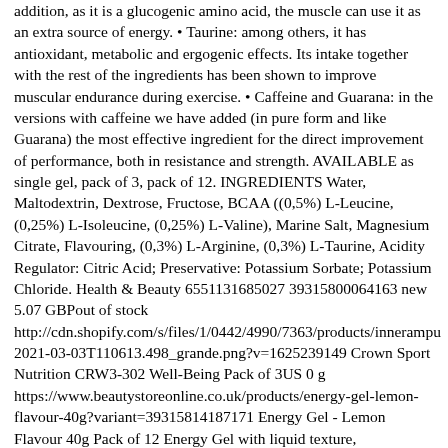addition, as it is a glucogenic amino acid, the muscle can use it as an extra source of energy. • Taurine: among others, it has antioxidant, metabolic and ergogenic effects. Its intake together with the rest of the ingredients has been shown to improve muscular endurance during exercise. • Caffeine and Guarana: in the versions with caffeine we have added (in pure form and like Guarana) the most effective ingredient for the direct improvement of performance, both in resistance and strength. AVAILABLE as single gel, pack of 3, pack of 12. INGREDIENTS Water, Maltodextrin, Dextrose, Fructose, BCAA ((0,5%) L-Leucine, (0,25%) L-Isoleucine, (0,25%) L-Valine), Marine Salt, Magnesium Citrate, Flavouring, (0,3%) L-Arginine, (0,3%) L-Taurine, Acidity Regulator: Citric Acid; Preservative: Potassium Sorbate; Potassium Chloride. Health & Beauty 6551131685027 39315800064163 new 5.07 GBPout of stock http://cdn.shopify.com/s/files/1/0442/4990/7363/products/innerampu 2021-03-03T110613.498_grande.png?v=1625239149 Crown Sport Nutrition CRW3-302 Well-Being Pack of 3US 0 g https://www.beautystoreonline.co.uk/products/energy-gel-lemon-flavour-40g?variant=39315814187171 Energy Gel - Lemon Flavour 40g Pack of 12 Energy Gel with liquid texture, carbohydrates, aminoacids and electrolytes. • Mix of carbohydrates in a 2: 1: 1 ratio (Maltodextrin: Dextrose: Fructose)• With a plus of branched chain amino acids, Arginine and Taurine• With minerals from assimilable sources• Liquid texture with incredible flavor and